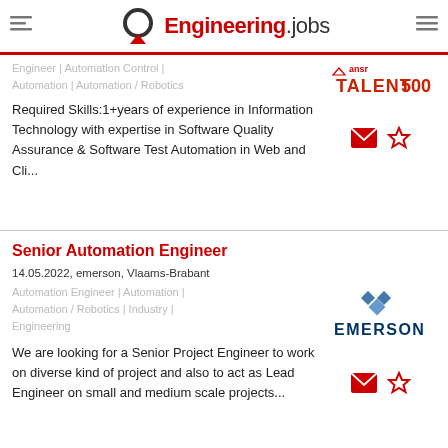Engineering.jobs
Engineer | Automation Control | Automation | Automation / Robotics
Required Skills:1+years of experience in Information Technology with expertise in Software Quality Assurance & Software Test Automation in Web and Cli...
Senior Automation Engineer
14.05.2022, emerson, Vlaams-Brabant
Automation Engineer | Automation | Automation / Robotics | Industry | Engineering
We are looking for a Senior Project Engineer to work on diverse kind of project and also to act as Lead Engineer on small and medium scale projects...